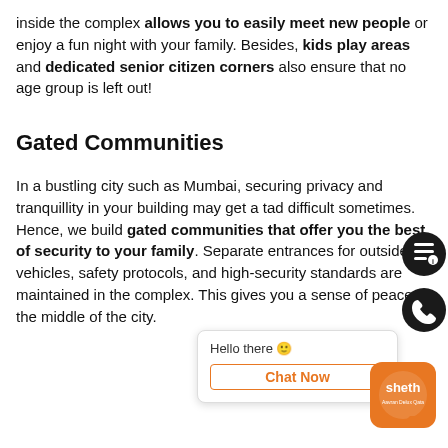inside the complex allows you to easily meet new people or enjoy a fun night with your family. Besides, kids play areas and dedicated senior citizen corners also ensure that no age group is left out!
Gated Communities
In a bustling city such as Mumbai, securing privacy and tranquillity in your building may get a tad difficult sometimes. Hence, we build gated communities that offer you the best of security to your family. Separate entrances for outside vehicles, safety protocols, and high-security standards are maintained in the complex. This gives you a sense of peace in the middle of the city.
[Figure (other): Chat popup widget with 'Hello there' message and 'Chat Now' button in orange, plus circular icon buttons and Sheth brand logo]